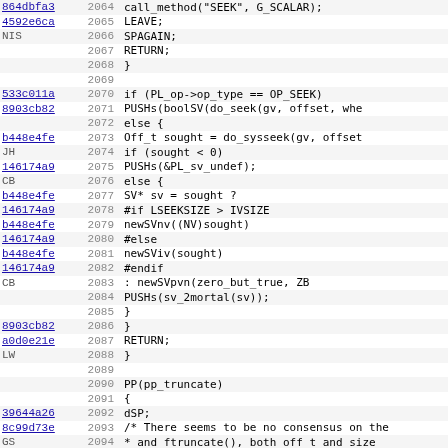[Figure (screenshot): Source code viewer showing lines 2064-2095 of a Perl/C source file with commit hashes, line numbers, and code content including file seek and truncate operations.]